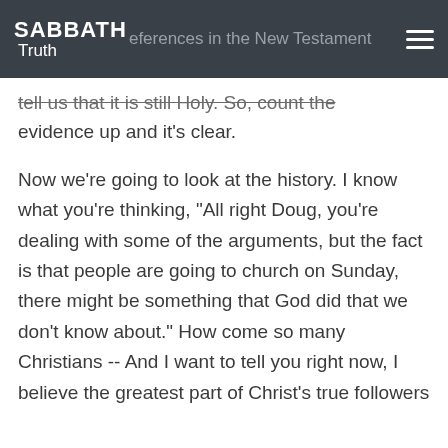SABBATH Truth — references in the New Testament
tell us that it is still Holy. So, count the evidence up and it's clear.
Now we're going to look at the history. I know what you're thinking, "All right Doug, you're dealing with some of the arguments, but the fact is that people are going to church on Sunday, there might be something that God did that we don't know about." How come so many Christians -- And I want to tell you right now, I believe the greatest part of Christ's true followers